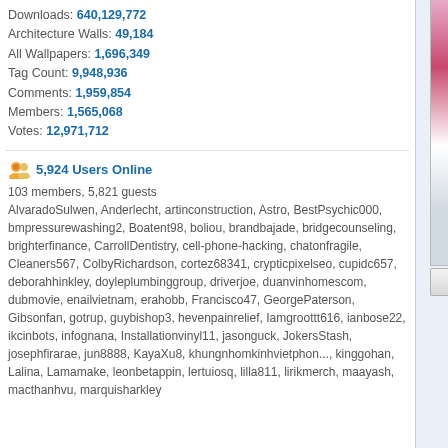Downloads: 640,129,772
Architecture Walls: 49,184
All Wallpapers: 1,696,349
Tag Count: 9,948,936
Comments: 1,959,854
Members: 1,565,068
Votes: 12,971,712
5,924 Users Online
103 members, 5,821 guests
AlvaradoSulwen, Anderlecht, artinconstruction, Astro, BestPsychic000, bmpressurewashing2, Boatent98, boliou, brandbajade, bridgecounseling, brighterfinance, CarrollDentistry, cell-phone-hacking, chatonfragile, Cleaners567, ColbyRichardson, cortez68341, crypticpixelseo, cupidc657, deborahhinkley, doyleplumbinggroup, driverjoe, duanvinhomescom, dubmovie, enailvietnam, erahobb, Francisco47, GeorgePaterson, Gibsonfan, gotrup, guybishop3, hevenpainrelief, Iamgroottt616, ianbose22, ikcinbots, infognana, Installationvinyl11, jasonguck, JokersStash, josephfirarae, jun8888, KayaXu8, khungnhomkinhvietphon..., kinggohan, Lalina, Lamamake, leonbetappin, lertuiosq, lilla811, lirikmerch, maayash, macthanhvu, marquisharkley
[Figure (photo): Pink flowers on a white picket fence - wallpaper image, partially cropped on right side]
Report This Wallpaper
Add To F
Wallpaper Description:
A white picket fence with bright pink flowers ha
Wallpaper Groups
[Figure (photo): Thumbnail image for Gardens and parks group - warm toned garden scene]
Gardens and parks
6,890  170  0
Leave a comment...
Wallpaper Comments (2)